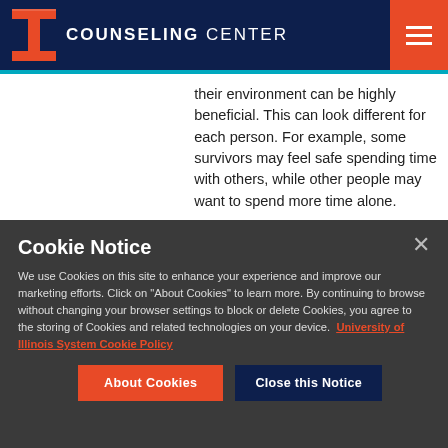COUNSELING CENTER
their environment can be highly beneficial. This can look different for each person. For example, some survivors may feel safe spending time with others, while other people may want to spend more time alone.
Cookie Notice
We use Cookies on this site to enhance your experience and improve our marketing efforts. Click on "About Cookies" to learn more. By continuing to browse without changing your browser settings to block or delete Cookies, you agree to the storing of Cookies and related technologies on your device. University of Illinois System Cookie Policy
About Cookies | Close this Notice